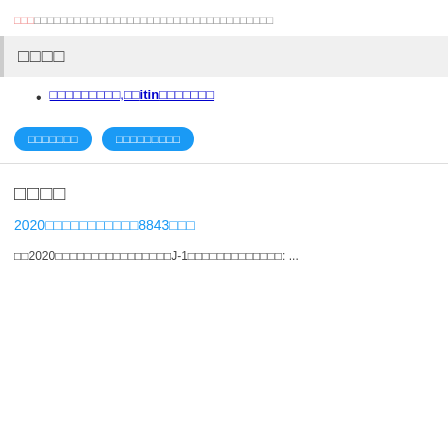□□□□□□□□□□□□□□□□□□□□□□□□□□□□□□□□□□□□□
□□□□
□□□□□□□□□,□□itin□□□□□□□
[button] □□□□□□□  [button] □□□□□□□□□
□□□□
2020□□□□□□□□□□□8843□□□
□□2020□□□□□□□□□□□□□□□□J-1□□□□□□□□□□□□□: ...